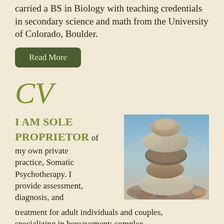carried a BS in Biology with teaching credentials in secondary science and math from the University of Colorado, Boulder.
Read More
CV
I AM SOLE PROPRIETOR of my own private practice, Somatic Psychotherapy. I provide assessment, diagnosis, and treatment for adult individuals and couples, specializing in bereavement; complex
[Figure (photo): Stacked balanced stones/pebbles on a blurred background, a classic zen/mindfulness image]